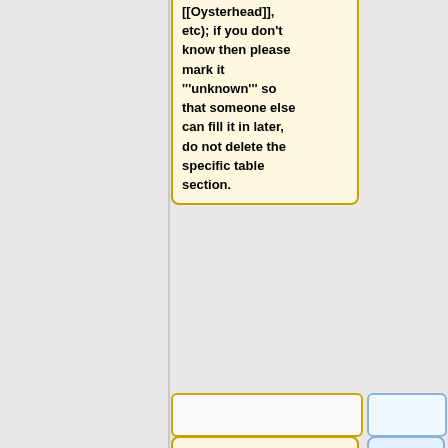[[Oysterhead]], etc); if you don't know then please mark it '''unknown''' so that someone else can fill it in later, do not delete the specific table section.
The article should be named following our standard calendar format. (Ex: "YYYY-MM-DD") If more than one event has taken place on that date, name the article "YYYY-MM-DD (Artist/band name performance)" and
"2012-07-12" can refer to: